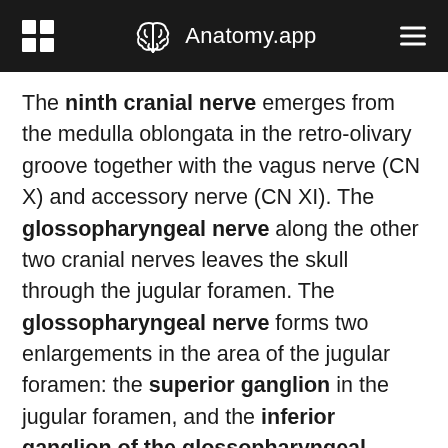Anatomy.app
The ninth cranial nerve emerges from the medulla oblongata in the retro-olivary groove together with the vagus nerve (CN X) and accessory nerve (CN XI). The glossopharyngeal nerve along the other two cranial nerves leaves the skull through the jugular foramen. The glossopharyngeal nerve forms two enlargements in the area of the jugular foramen: the superior ganglion in the jugular foramen, and the inferior ganglion of the glossopharyngeal nerve below the jugular foramen. Both ganglia contain cell bodies of sensory neurons - pseudounipolar neurons - with dendrites receiving information in the periphery